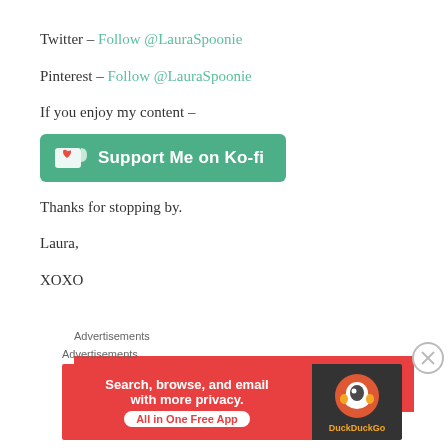Twitter – Follow @LauraSpoonie
Pinterest – Follow @LauraSpoonie
If you enjoy my content –
[Figure (other): Ko-fi support button: green rounded rectangle with heart/cup icon and text 'Support Me on Ko-fi']
Thanks for stopping by.
Laura,
XOXO
Advertisements
[Figure (screenshot): Red advertisement banner with white bold text 'An app by']
Advertisements
[Figure (screenshot): DuckDuckGo ad: red left panel with text 'Search, browse, and email with more privacy. All in One Free App', dark right panel with DuckDuckGo logo]